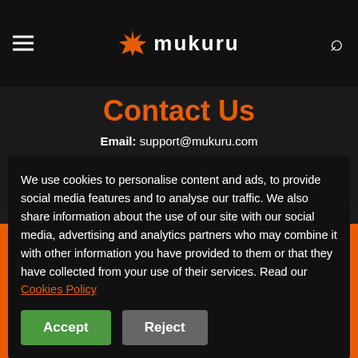mukuru
Contact Us
Email: support@mukuru.com
Call: +27(0)86 001 8555
WhatsApp: +27(0)86 001 8555
Free USSD: *130*567#
Office Hours:
We use cookies to personalise content and ads, to provide social media features and to analyse our traffic. We also share information about the use of our site with our social media, advertising and analytics partners who may combine it with other information you have provided to them or that they have collected from your use of their services. Read our Cookies Policy
Accept
Reject
Mukuru.com © 2021 All Rights Reserved. Powered by Remitix, FCA #576623
Privacy Policy | Terms of Use | Sitemap